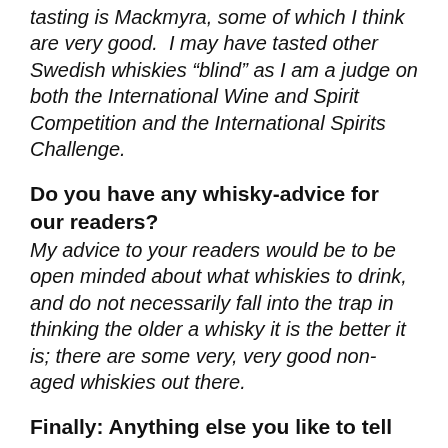tasting is Mackmyra, some of which I think are very good.  I may have tasted other Swedish whiskies “blind” as I am a judge on both the International Wine and Spirit Competition and the International Spirits Challenge.
Do you have any whisky-advice for our readers?
My advice to your readers would be to be open minded about what whiskies to drink, and do not necessarily fall into the trap in thinking the older a whisky it is the better it is; there are some very, very good non-aged whiskies out there.
Finally: Anything else you like to tell us?